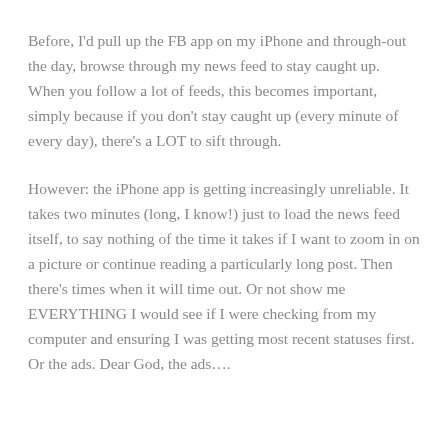Before, I'd pull up the FB app on my iPhone and through-out the day, browse through my news feed to stay caught up. When you follow a lot of feeds, this becomes important, simply because if you don't stay caught up (every minute of every day), there's a LOT to sift through.
However: the iPhone app is getting increasingly unreliable. It takes two minutes (long, I know!) just to load the news feed itself, to say nothing of the time it takes if I want to zoom in on a picture or continue reading a particularly long post. Then there's times when it will time out. Or not show me EVERYTHING I would see if I were checking from my computer and ensuring I was getting most recent statuses first. Or the ads. Dear God, the ads….